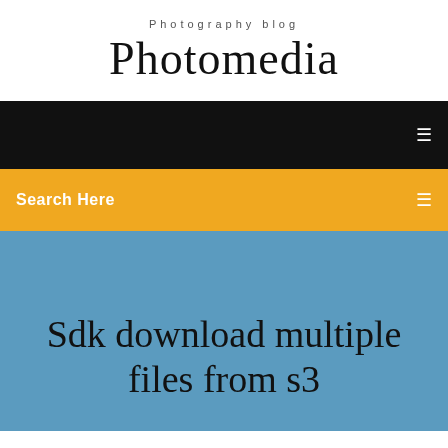Photography blog
Photomedia
[Figure (screenshot): Black navigation bar with a small white menu icon on the right]
Search Here
Sdk download multiple files from s3